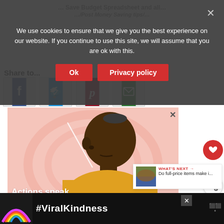We use cookies to ensure that we give you the best experience on our website. If you continue to use this site, we will assume that you are ok with this.
Ok   Privacy policy
Share to...
[Figure (illustration): Illustrated portrait of a person in yellow jacket with text 'Actions speak louder than words' on a pink/rose background]
WHAT'S NEXT → Do full-price items make i...
#ViralKindness